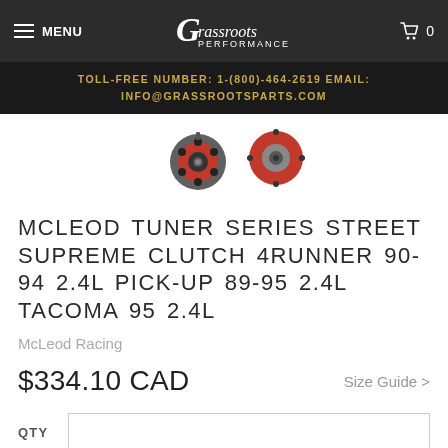MENU | Grassroots Performance | Cart 0
TOLL-FREE NUMBER: 1-(800)-464-2619 EMAIL: INFO@GRASSROOTSPARTS.COM
[Figure (photo): Two clutch kit components with red coloring - a full clutch assembly and a pressure plate, shown as product thumbnails]
MCLEOD TUNER SERIES STREET SUPREME CLUTCH 4RUNNER 90-94 2.4L PICK-UP 89-95 2.4L TACOMA 95 2.4L
McLeod Racing
$334.10 CAD
Size Guide >
QTY